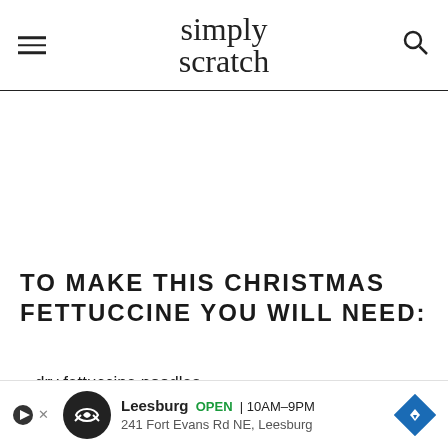simply scratch
TO MAKE THIS CHRISTMAS FETTUCCINE YOU WILL NEED:
dry fettuccine noodles
shallot
garlic
a larg[e...]
dry w[hite wine...]